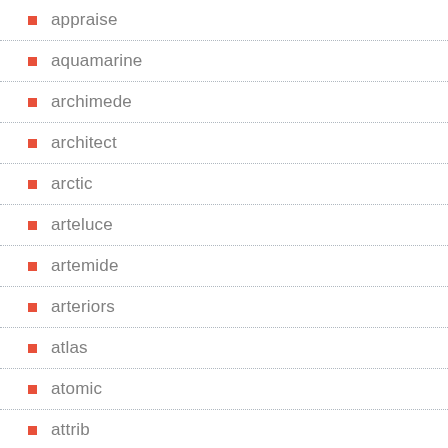appraise
aquamarine
archimede
architect
arctic
arteluce
artemide
arteriors
atlas
atomic
attrib